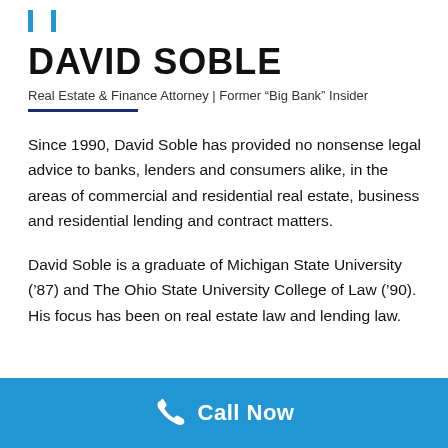DAVID SOBLE
Real Estate & Finance Attorney | Former “Big Bank” Insider
Since 1990, David Soble has provided no nonsense legal advice to banks, lenders and consumers alike, in the areas of commercial and residential real estate, business and residential lending and contract matters.
David Soble is a graduate of Michigan State University (’87) and The Ohio State University College of Law (’90). His focus has been on real estate law and lending law.
Call Now